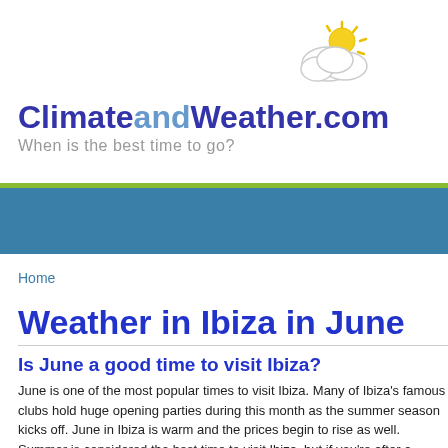ClimateandWeather.com — When is the best time to go?
Weather in Ibiza in June
Is June a good time to visit Ibiza?
June is one of the most popular times to visit Ibiza. Many of Ibiza's famous clubs hold huge opening parties during this month as the summer season kicks off. June in Ibiza is warm and the prices begin to rise as well. Summer is considered the best time to visit Ibiza, but if you're after a beach holiday without the crowds...